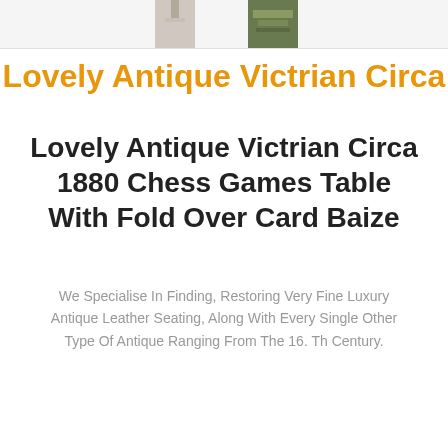[Figure (photo): Partial product thumbnail images visible at top of page - two cropped antique item photos]
Lovely Antique Victrian Circa
Lovely Antique Victrian Circa 1880 Chess Games Table With Fold Over Card Baize
We Specialise In Finding, Restoring Very Fine Luxury Antique Leather Seating, Along With Every Single Other Type Of Antique Ranging From The 16. Th Century.
$2299.15